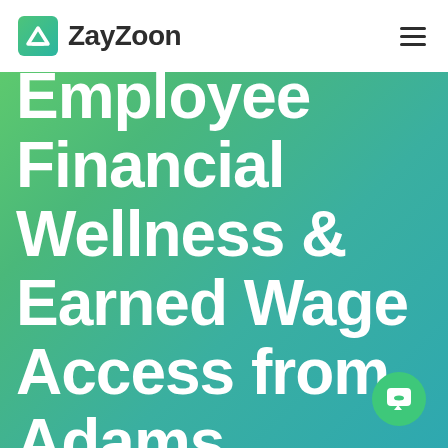ZayZoon
Employee Financial Wellness & Earned Wage Access from Adams Brown